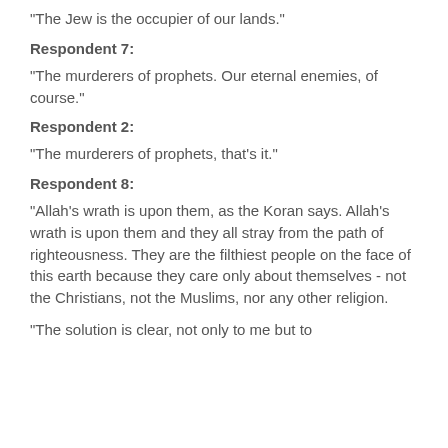"The Jew is the occupier of our lands."
Respondent 7:
"The murderers of prophets. Our eternal enemies, of course."
Respondent 2:
"The murderers of prophets, that's it."
Respondent 8:
"Allah's wrath is upon them, as the Koran says. Allah's wrath is upon them and they all stray from the path of righteousness. They are the filthiest people on the face of this earth because they care only about themselves - not the Christians, not the Muslims, nor any other religion.
"The solution is clear, not only to me but to